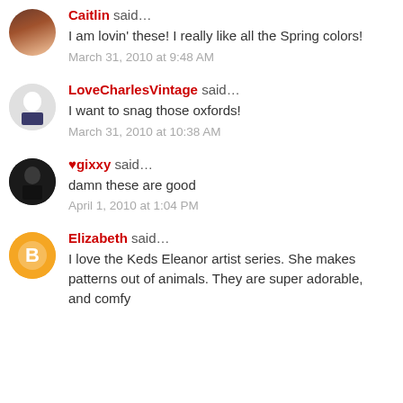Caitlin said... I am lovin' these! I really like all the Spring colors! March 31, 2010 at 9:48 AM
LoveCharlesVintage said... I want to snag those oxfords! March 31, 2010 at 10:38 AM
♥gixxy said... damn these are good April 1, 2010 at 1:04 PM
Elizabeth said... I love the Keds Eleanor artist series. She makes patterns out of animals. They are super adorable, and comfy